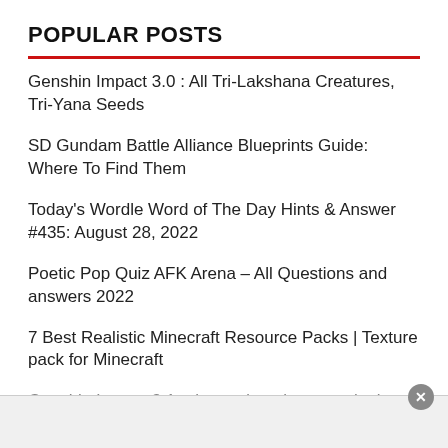POPULAR POSTS
Genshin Impact 3.0 : All Tri-Lakshana Creatures, Tri-Yana Seeds
SD Gundam Battle Alliance Blueprints Guide: Where To Find Them
Today's Wordle Word of The Day Hints & Answer #435: August 28, 2022
Poetic Pop Quiz AFK Arena – All Questions and answers 2022
7 Best Realistic Minecraft Resource Packs | Texture pack for Minecraft
Genshin Impact 3.1 release date, banners, leak reveals Sumer…